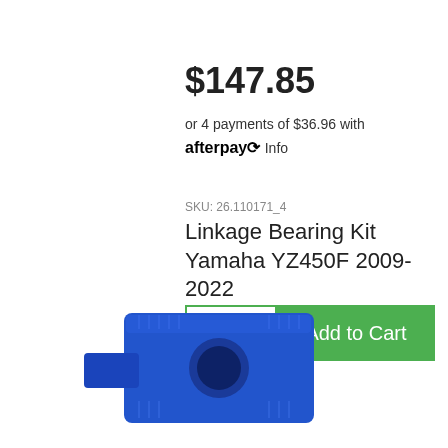$147.85
or 4 payments of $36.96 with afterpay Info
SKU: 26.110171_4
Linkage Bearing Kit Yamaha YZ450F 2009-2022
[Figure (screenshot): Add to Cart button with quantity selector showing 1, and a green Add to Cart button]
[Figure (photo): Blue anodized aluminum linkage bearing kit part for Yamaha YZ450F motorcycle, square block shape with circular hole]